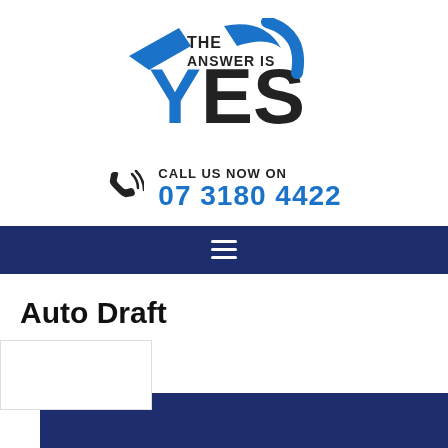[Figure (logo): The Answer Is YES logo with blue chevron/wing shapes and bold black YES text]
CALL US NOW ON
07 3180 4422
[Figure (other): Dark navy navigation bar with hamburger menu icon (three white horizontal lines)]
Auto Draft
[Figure (other): Bottom section showing a white box and dark navy blue banner bar]